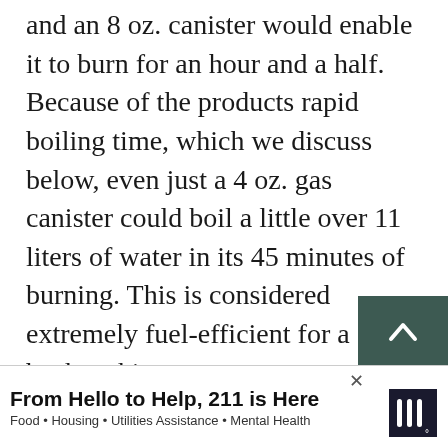and an 8 oz. canister would enable it to burn for an hour and a half. Because of the products rapid boiling time, which we discuss below, even just a 4 oz. gas canister could boil a little over 11 liters of water in its 45 minutes of burning. This is considered extremely fuel-efficient for a backpacking stove.

Even on longer trips, the Soto Windmaster will be able to use a small gas canister efficiently enough to last throughout a few days. Because of this, the Soto Windmaster is considered the opt... ...t want to
[Figure (other): Dark green scroll-to-top button with upward chevron arrow]
From Hello to Help, 211 is Here
Food · Housing · Utilities Assistance · Mental Health